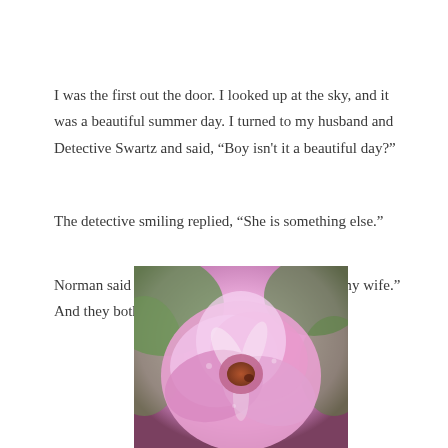I was the first out the door. I looked up at the sky, and it was a beautiful summer day. I turned to my husband and Detective Swartz and said, “Boy isn't it a beautiful day?”
The detective smiling replied, “She is something else.”
Norman said smiling, “Yep. That’s Jody. That's my wife.” And they both shook their heads and chuckled.
[Figure (photo): Close-up photo of pink peony or rose flowers with green foliage in the background]